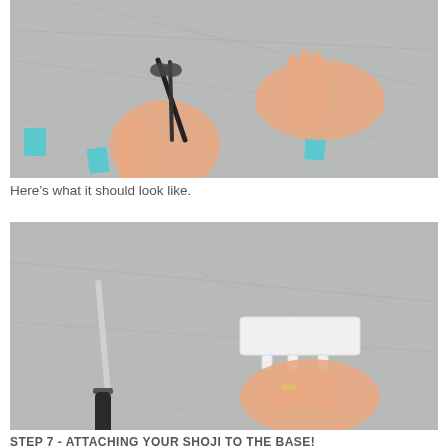[Figure (photo): Two hands working on a craft project on a gray wrinkled plastic/fabric surface. Left hand holds scissors, right hand is pressing down. Blue tape pieces are visible on the surface corners.]
Here’s what it should look like.
[Figure (photo): A hand with a ring pressing down on a white plastic wall hook/clip on a gray wrinkled plastic surface. A knife with a black handle lies to the left.]
STEP 7 - ATTACHING YOUR SHOJI TO THE BASE!